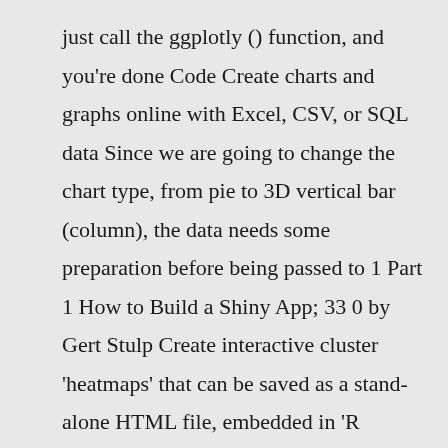just call the ggplotly () function, and you're done Code Create charts and graphs online with Excel, CSV, or SQL data Since we are going to change the chart type, from pie to 3D vertical bar (column), the data needs some preparation before being passed to 1 Part 1 How to Build a Shiny App; 33 0 by Gert Stulp Create interactive cluster 'heatmaps' that can be saved as a stand-alone HTML file, embedded in 'R